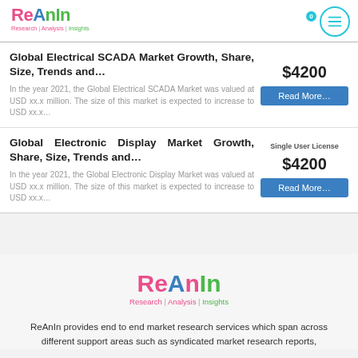ReAnIn Research | Analysis | Insights
Global Electrical SCADA Market Growth, Share, Size, Trends and…
In the year 2021, the Global Electrical SCADA Market was valued at USD xx.x million. The size of this market is expected to increase to USD xx.x…
$4200
Read More…
Global Electronic Display Market Growth, Share, Size, Trends and…
In the year 2021, the Global Electronic Display Market was valued at USD xx.x million. The size of this market is expected to increase to USD xx.x…
Single User License
$4200
Read More…
[Figure (logo): ReAnIn Research Analysis Insights logo]
ReAnIn provides end to end market research services which span across different support areas such as syndicated market research reports,